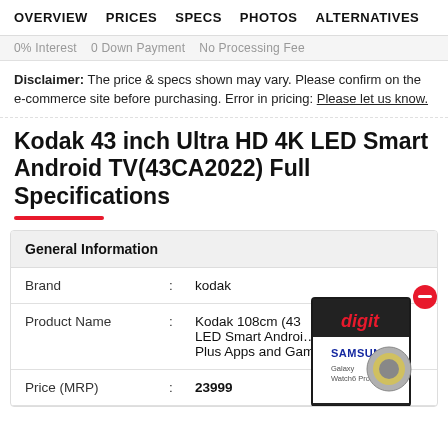OVERVIEW   PRICES   SPECS   PHOTOS   ALTERNATIVES
0% Interest   0 Down Payment   No Processing Fee
Disclaimer: The price & specs shown may vary. Please confirm on the e-commerce site before purchasing. Error in pricing: Please let us know.
Kodak 43 inch Ultra HD 4K LED Smart Android TV(43CA2022) Full Specifications
|  | : |  |
| --- | --- | --- |
| Brand | : | kodak |
| Product Name | : | Kodak 108cm (43 LED Smart Android Plus Apps and Games (43CA2022) |
| Price (MRP) | : | 23999 |